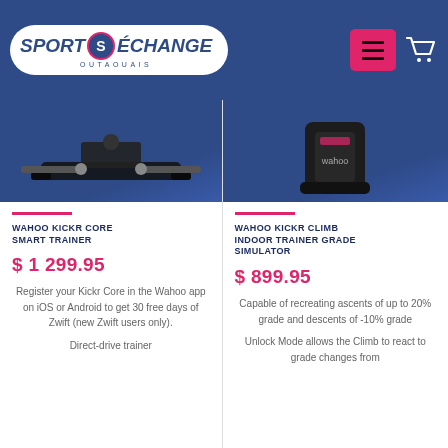[Figure (logo): Sport Échange Outaouais logo in white oval on blue header background]
[Figure (photo): Product photo of Wahoo Kickr Core Smart Trainer on blue background]
WAHOO KICKR CORE SMART TRAINER
$ 1 299.95
Register your Kickr Core in the Wahoo app on iOS or Android to get 30 free days of Zwift (new Zwift users only).
Direct-drive trainer
[Figure (photo): Product photo of Wahoo Kickr Climb Indoor Trainer Grade Simulator on blue background]
WAHOO KICKR CLIMB INDOOR TRAINER GRADE SIMULATOR
$ 899.95
Capable of recreating ascents of up to 20% grade and descents of -10% grade
Unlock Mode allows the Climb to react to grade changes from